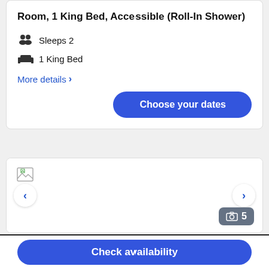Room, 1 King Bed, Accessible (Roll-In Shower)
Sleeps 2
1 King Bed
More details >
Choose your dates
[Figure (screenshot): Hotel room image slider with broken image placeholder, left and right navigation arrows, and a photo count badge showing 5 photos]
Check availability